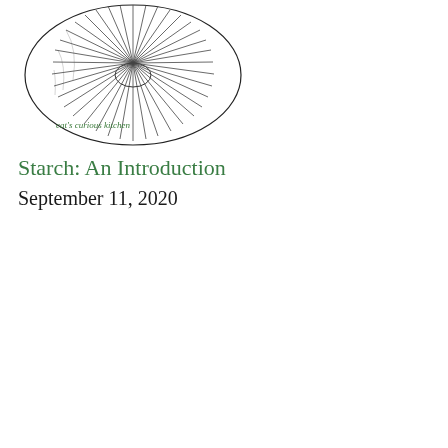[Figure (illustration): Hand-drawn black and white sketch of the underside of a mushroom cap showing radiating gills, viewed from below. A handwritten label reads 'cat's curious kitchen' in green cursive at the bottom of the illustration.]
Starch: An Introduction
September 11, 2020